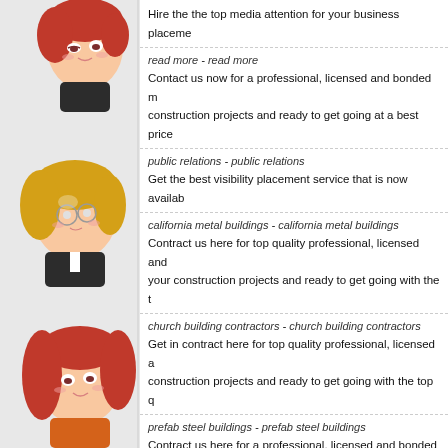[Figure (illustration): Anime/manga-style chibi characters stacked vertically on the left side of the page]
Hire the the top media attention for your business placement
read more - read more
Contact us now for a professional, licensed and bonded m... construction projects and ready to get going at a best price
public relations - public relations
Get the best visibility placement service that is now availab...
california metal buildings - california metal buildings
Contract us here for top quality professional, licensed and ... your construction projects and ready to get going with the t...
church building contractors - church building contractors
Get in contract here for top quality professional, licensed a... construction projects and ready to get going with the top q...
prefab steel buildings - prefab steel buildings
Contract us here for a professional, licensed and bonded b... projects and ready to get going with the top quality. Ask fo...
church building construction - church building construction
Contact us now for top quality professional, licensed and b... on your construction projects and ready to get going at a b...
steel building suppliers - steel building suppliers
Get in contract here for the best professional, licensed ano... construction projects and ready to get going at a best price
influencers - influencers